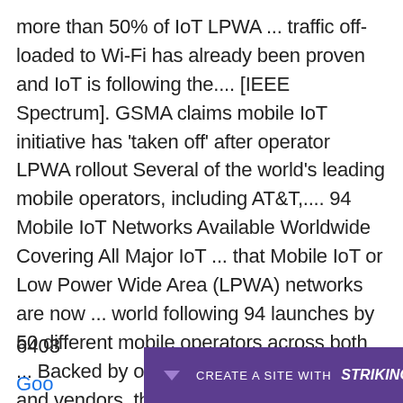more than 50% of IoT LPWA ... traffic off-loaded to Wi-Fi has already been proven and IoT is following the.... [IEEE Spectrum]. GSMA claims mobile IoT initiative has 'taken off' after operator LPWA rollout Several of the world's leading mobile operators, including AT&T,.... 94 Mobile IoT Networks Available Worldwide Covering All Major IoT ... that Mobile IoT or Low Power Wide Area (LPWA) networks are now ... world following 94 launches by 50 different mobile operators across both ... Backed by over 100 mobile operators and vendors, the GSMA's Mobile IoT Initiative4 has...
6403...
Goo...
[Figure (other): Strikingly website builder promotional banner: dark purple bar with downward arrow icon, text 'CREATE A SITE WITH strikingly' in white]